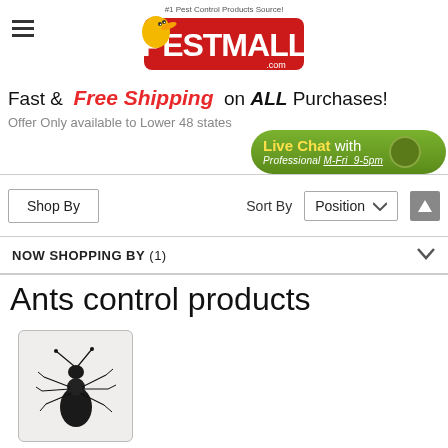[Figure (logo): PestMall.com logo with cartoon bird mascot and red banner. Text: #1 Pest Control Products Source!]
Fast & Free Shipping on ALL Purchases!
Offer Only available to Lower 48 states
[Figure (infographic): Live Chat with Professional M-Fri 9-5pm green button]
Shop By
Sort By  Position
NOW SHOPPING BY (1)
Ants control products
[Figure (photo): Close-up photo of a black ant on white background]